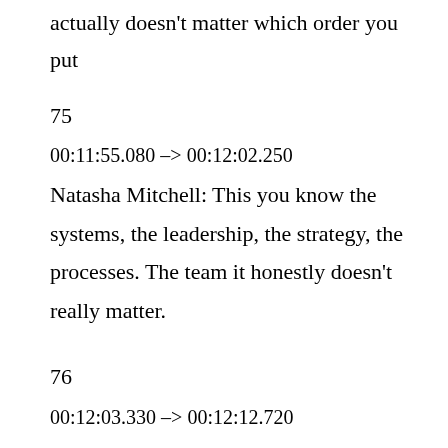actually doesn't matter which order you put
75
00:11:55.080 –> 00:12:02.250
Natasha Mitchell: This you know the systems, the leadership, the strategy, the processes. The team it honestly doesn't really matter.
76
00:12:03.330 –> 00:12:12.720
Natasha Mitchell: which order they go in